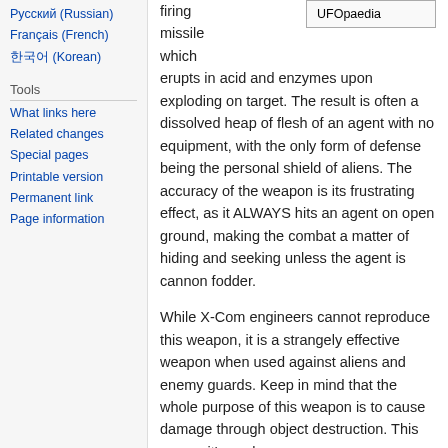Русский (Russian)
Français (French)
한국어 (Korean)
Tools
What links here
Related changes
Special pages
Printable version
Permanent link
Page information
[Figure (other): UFOpaedia infobox]
firing missile which erupts in acid and enzymes upon exploding on target. The result is often a dissolved heap of flesh of an agent with no equipment, with the only form of defense being the personal shield of aliens. The accuracy of the weapon is its frustrating effect, as it ALWAYS hits an agent on open ground, making the combat a matter of hiding and seeking unless the agent is cannon fodder.
While X-Com engineers cannot reproduce this weapon, it is a strangely effective weapon when used against aliens and enemy guards. Keep in mind that the whole purpose of this weapon is to cause damage through object destruction. This means it's useless along most of the environment. D...